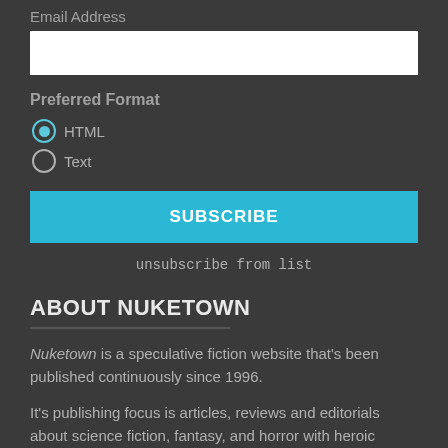Email Address
Preferred Format
HTML
Text
SUBSCRIBE
unsubscribe from list
ABOUT NUKETOWN
Nuketown is a speculative fiction website that's been published continuously since 1996.
It's publishing focus is articles, reviews and editorials about science fiction, fantasy, and horror with heroic